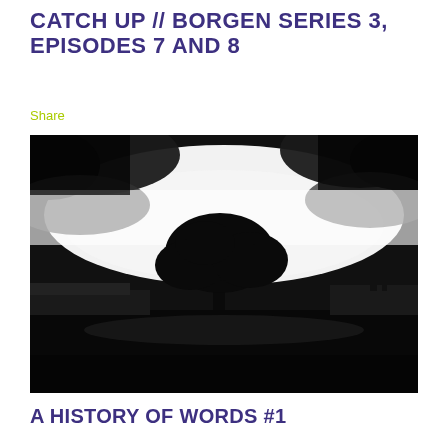CATCH UP // BORGEN SERIES 3, EPISODES 7 AND 8
Share
[Figure (photo): Black and white dramatic photograph of a tree silhouetted against a bright glowing sky with dark storm clouds, with rooftops and buildings visible in the background. The image has a moody, cinematic quality.]
A HISTORY OF WORDS #1